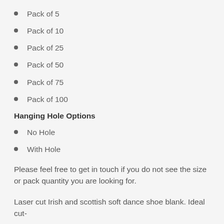Pack of 5
Pack of 10
Pack of 25
Pack of 50
Pack of 75
Pack of 100
Hanging Hole Options
No Hole
With Hole
Please feel free to get in touch if you do not see the size or pack quantity you are looking for.
Laser cut Irish and scottish soft dance shoe blank. Ideal cut-